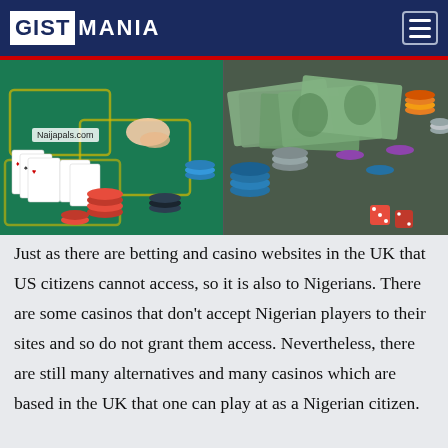GISTMANIA
[Figure (photo): Composite photo showing casino card table with chips and cards on the left, and US dollar bills with casino chips and dice on the right. Watermark 'Naijapals.com' on top left, 'Gistmania.com' on bottom right.]
Just as there are betting and casino websites in the UK that US citizens cannot access, so it is also to Nigerians. There are some casinos that don't accept Nigerian players to their sites and so do not grant them access. Nevertheless, there are still many alternatives and many casinos which are based in the UK that one can play at as a Nigerian citizen.